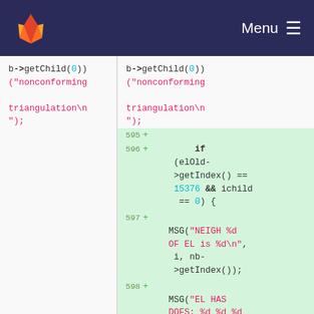GitLab navigation bar with logo and Menu
[Figure (screenshot): Code diff view showing two panels side by side. Left panel shows old code with b->getChild(0)) ("nonconforming triangulation\n"); Right panel shows same code plus new green-highlighted diff lines 595-598 with if (elOld->getIndex() == 15376 && ichild == 0) { MSG("NEIGH %d OF EL is %d\n", i, nb->getIndex()); MSG("EL HAS DOFS: %d %d %d %d\n",]